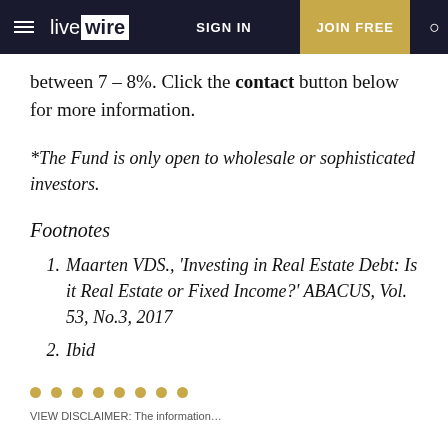live wire | SIGN IN | JOIN FREE
between 7 – 8%. Click the contact button below for more information.
*The Fund is only open to wholesale or sophisticated investors.
Footnotes
1. Maarten VDS., 'Investing in Real Estate Debt: Is it Real Estate or Fixed Income?' ABACUS, Vol. 53, No.3, 2017
2. Ibid
• • • • • • • •
VIEW DISCLAIMER: The information...